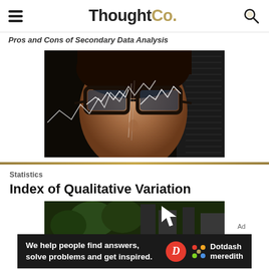ThoughtCo.
Pros and Cons of Secondary Data Analysis
[Figure (photo): Close-up of a woman wearing glasses with financial stock market chart lines overlaid on her face and glasses]
Statistics
Index of Qualitative Variation
[Figure (photo): Partial image of a nighttime urban scene with trees and buildings, with a white arrow cursor visible]
We help people find answers, solve problems and get inspired.
Ad